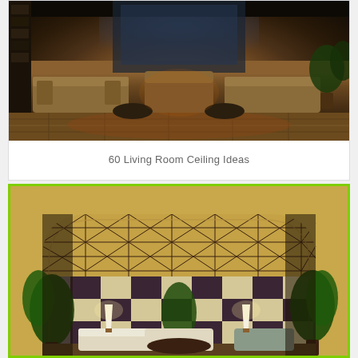[Figure (photo): Interior photo of a luxurious living room with warm brown and tan tones, comfortable sofas and armchairs, hardwood flooring with area rug, large windows in the background, and potted plants]
60 Living Room Ceiling Ideas
[Figure (photo): Interior photo of a dramatic living room with a coffered geometric ceiling featuring dark wood beams in a diamond/X pattern, purple-gray walls with a bold dark brown and cream checkered pattern, tropical plants, lamps, white sofas and eclectic furniture, viewed through an arched entryway]